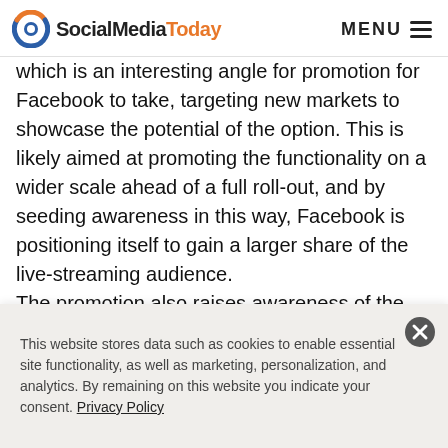SocialMediaToday  MENU
which is an interesting angle for promotion for Facebook to take, targeting new markets to showcase the potential of the option. This is likely aimed at promoting the functionality on a wider scale ahead of a full roll-out, and by seeding awareness in this way, Facebook is positioning itself to gain a larger share of the live-streaming audience.

The promotion also raises awareness of the potential of live-streaming, with hosts from The Talk engaging fans before and after broadcasts with live Q and As, a
This website stores data such as cookies to enable essential site functionality, as well as marketing, personalization, and analytics. By remaining on this website you indicate your consent. Privacy Policy